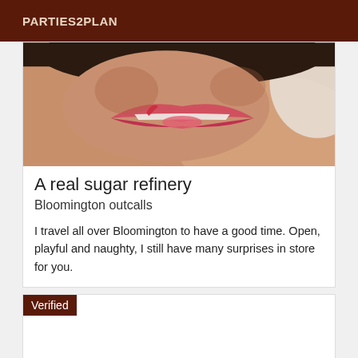PARTIES2PLAN
[Figure (photo): Close-up photo of lips and face, intimate/suggestive image]
A real sugar refinery
Bloomington outcalls
I travel all over Bloomington to have a good time. Open, playful and naughty, I still have many surprises in store for you.
Verified